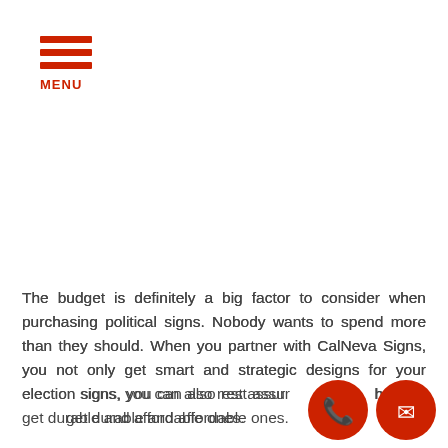MENU
The budget is definitely a big factor to consider when purchasing political signs. Nobody wants to spend more than they should. When you partner with CalNeva Signs, you not only get smart and strategic designs for your election signs, you can also rest assured that you get durable and affordable ones.
[Figure (illustration): Red circular phone icon and red circular mail/envelope icon in the bottom right corner]